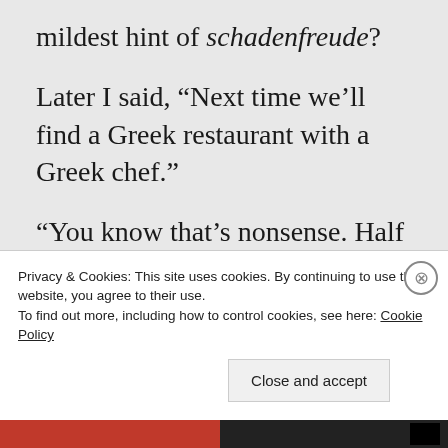mildest hint of schadenfreude?
Later I said, “Next time we’ll find a Greek restaurant with a Greek chef.”
“You know that’s nonsense. Half the Italian restaurants in Sydney are run by Anglos, not Italians.”
She was right of course.
“Why don’t we just find a restaurant with a
Privacy & Cookies: This site uses cookies. By continuing to use this website, you agree to their use.
To find out more, including how to control cookies, see here: Cookie Policy
Close and accept